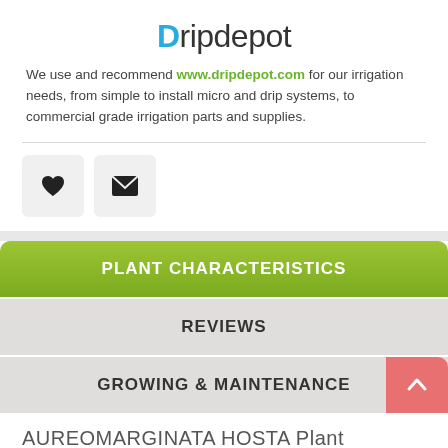Dripdepot
We use and recommend www.dripdepot.com for our irrigation needs, from simple to install micro and drip systems, to commercial grade irrigation parts and supplies.
[Figure (illustration): Heart icon button and envelope/email icon button, both on light gray rounded rectangle backgrounds]
PLANT CHARACTERISTICS
REVIEWS
GROWING & MAINTENANCE
AUREOMARGINATA HOSTA Plant